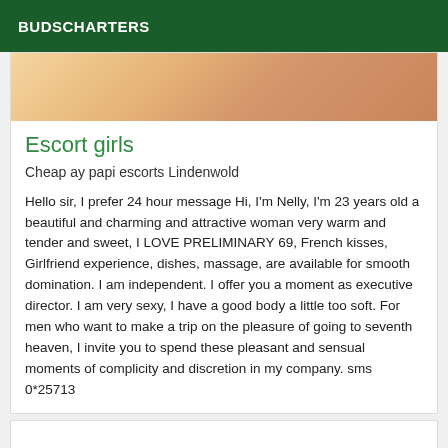BUDSCHARTERS
[Figure (photo): Close-up photo of a woman, cropped at top]
Escort girls
Cheap ay papi escorts Lindenwold
Hello sir, I prefer 24 hour message Hi, I'm Nelly, I'm 23 years old a beautiful and charming and attractive woman very warm and tender and sweet, I LOVE PRELIMINARY 69, French kisses, Girlfriend experience, dishes, massage, are available for smooth domination. I am independent. I offer you a moment as executive director. I am very sexy, I have a good body a little too soft. For men who want to make a trip on the pleasure of going to seventh heaven, I invite you to spend these pleasant and sensual moments of complicity and discretion in my company. sms 0*25713